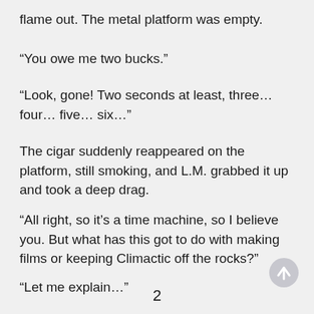flame out. The metal platform was empty.
“You owe me two bucks.”
“Look, gone! Two seconds at least, three… four… five… six…”
The cigar suddenly reappeared on the platform, still smoking, and L.M. grabbed it up and took a deep drag.
“All right, so it’s a time machine, so I believe you. But what has this got to do with making films or keeping Climactic off the rocks?”
“Let me explain…”
2